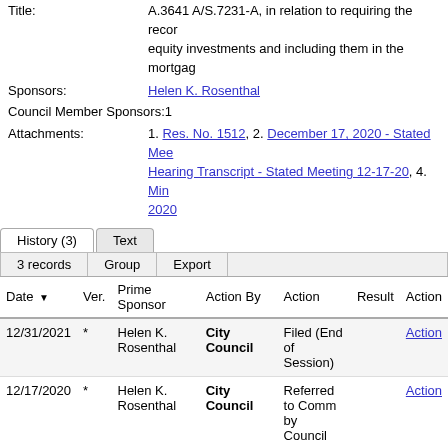Title: A.3641 A/S.7231-A, in relation to requiring the recording of equity investments and including them in the mortga...
Sponsors: Helen K. Rosenthal
Council Member Sponsors: 1
Attachments: 1. Res. No. 1512, 2. December 17, 2020 - Stated Meeting..., 3. Hearing Transcript - Stated Meeting 12-17-20, 4. Min... 2020
| Date | Ver. | Prime Sponsor | Action By | Action | Result | Action |
| --- | --- | --- | --- | --- | --- | --- |
| 12/31/2021 | * | Helen K. Rosenthal | City Council | Filed (End of Session) |  | Action |
| 12/17/2020 | * | Helen K. Rosenthal | City Council | Referred to Comm by Council |  | Action |
| 12/17/2020 | * | Helen K. Rosenthal | City Council | Introduced by Council |  | Action |